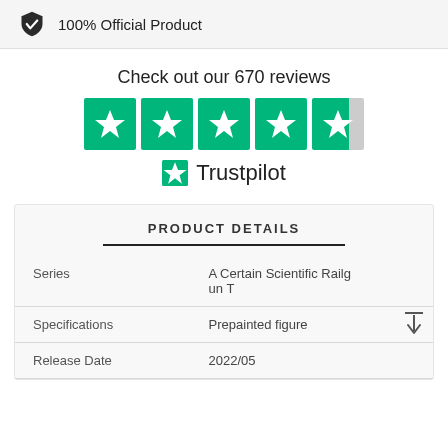[Figure (infographic): Shield checkmark icon with '100% Official Product' text in a light gray bar]
100% Official Product
Check out our 670 reviews
[Figure (infographic): Trustpilot 4.5 star rating with green star boxes and Trustpilot logo]
PRODUCT DETAILS
| Series | A Certain Scientific Railgun T |
| Specifications | Prepainted figure |
| Release Date | 2022/05 |